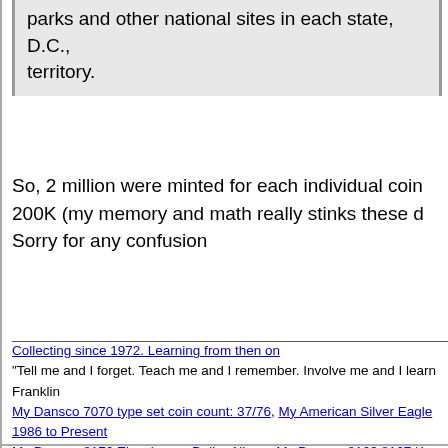parks and other national sites in each state, D.C., territory.
So, 2 million were minted for each individual coin 200K (my memory and math really stinks these d Sorry for any confusion
Collecting since 1972. Learning from then on
"Tell me and I forget. Teach me and I remember. Involve me and I learn" Franklin
My Dansco 7070 type set coin count: 37/76, My American Silver Eagle 1986 to Present
My Dansco 8176 Eisenhower-Dollar Album, My Dansco 8166,8167 Kennedy Albums
My Dansco 8140,8143-8147 Washington-Quarter Albums, My Dansco Dime Album